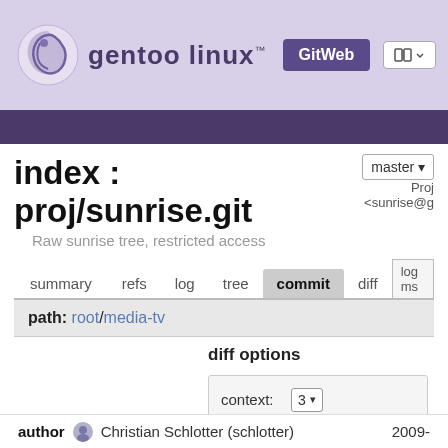gentoo linux™ GitWeb
index : proj/sunrise.git
Raw sunrise tree, restricted access
summary  refs  log  tree  commit  diff  log ms
path: root/media-tv
diff options
context: 3
space: include
mode: unified
author  Christian Schlotter (schlotter)  2009-